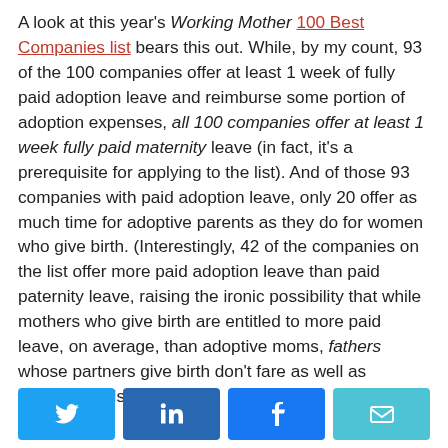A look at this year's Working Mother 100 Best Companies list bears this out. While, by my count, 93 of the 100 companies offer at least 1 week of fully paid adoption leave and reimburse some portion of adoption expenses, all 100 companies offer at least 1 week fully paid maternity leave (in fact, it's a prerequisite for applying to the list). And of those 93 companies with paid adoption leave, only 20 offer as much time for adoptive parents as they do for women who give birth. (Interestingly, 42 of the companies on the list offer more paid adoption leave than paid paternity leave, raising the ironic possibility that while mothers who give birth are entitled to more paid leave, on average, than adoptive moms, fathers whose partners give birth don't fare as well as adoptive dads.
[Figure (other): Social share buttons: Twitter, LinkedIn, Facebook, Email]